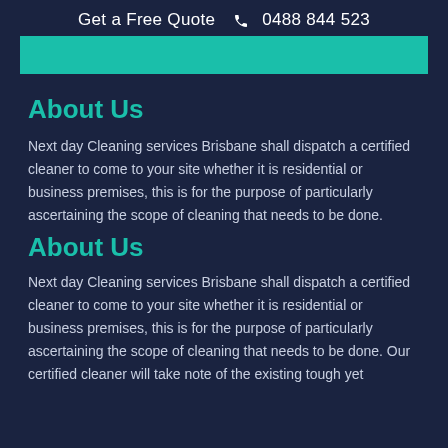Get a Free Quote ☎ 0488 844 523
[Figure (other): Teal/turquoise decorative horizontal bar]
About Us
Next day Cleaning services Brisbane shall dispatch a certified cleaner to come to your site whether it is residential or business premises, this is for the purpose of particularly ascertaining the scope of cleaning that needs to be done.
About Us
Next day Cleaning services Brisbane shall dispatch a certified cleaner to come to your site whether it is residential or business premises, this is for the purpose of particularly ascertaining the scope of cleaning that needs to be done. Our certified cleaner will take note of the existing tough yet